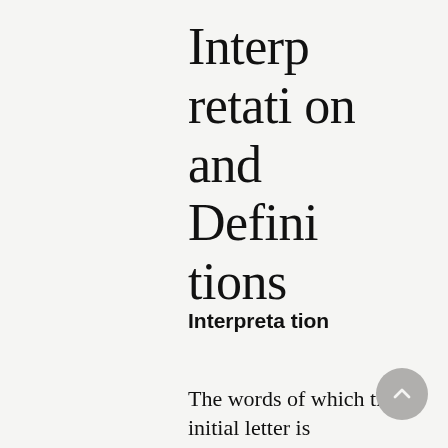Interpretation and Definitions
Interpretation
The words of which the initial letter is